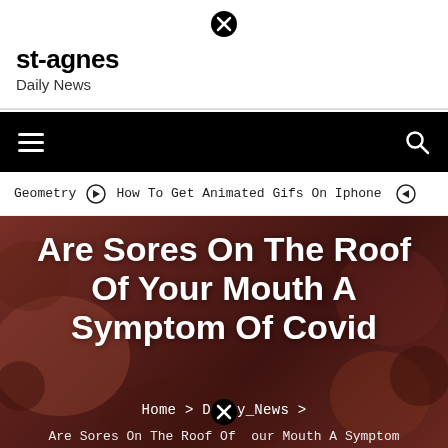st-agnes
Daily News
[Figure (screenshot): Website navigation bar with hamburger menu icon on left and search icon on right, black background]
Geometry   ➡ How To Get Animated Gifs On Iphone   ◀
Are Sores On The Roof Of Your Mouth A Symptom Of Covid
Home > Daily_News >
Are Sores On The Roof Of Your Mouth A Symptom